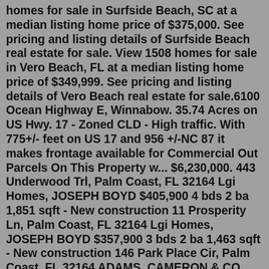homes for sale in Surfside Beach, SC at a median listing home price of $375,000. See pricing and listing details of Surfside Beach real estate for sale. View 1508 homes for sale in Vero Beach, FL at a median listing home price of $349,999. See pricing and listing details of Vero Beach real estate for sale.6100 Ocean Highway E, Winnabow. 35.74 Acres on US Hwy. 17 - Zoned CLD - High traffic. With 775+/- feet on US 17 and 956 +/-NC 87 it makes frontage available for Commercial Out Parcels On This Property w... $6,230,000. 443 Underwood Trl, Palm Coast, FL 32164 Lgi Homes, JOSEPH BOYD $405,900 4 bds 2 ba 1,851 sqft - New construction 11 Prosperity Ln, Palm Coast, FL 32164 Lgi Homes, JOSEPH BOYD $357,900 3 bds 2 ba 1,463 sqft - New construction 146 Park Place Cir, Palm Coast, FL 32164 ADAMS, CAMERON & CO., REALTORS, Sonia Taska $475,000 3 bds 2 ba 2,056 sqftCurrently, there are 78 new listings and 547 homes for sale in Ormond Beach. Home Size. Home Value*. 1 bedroom (3 homes) $217,099. 2 bedrooms (162 homes) $229,217. 2